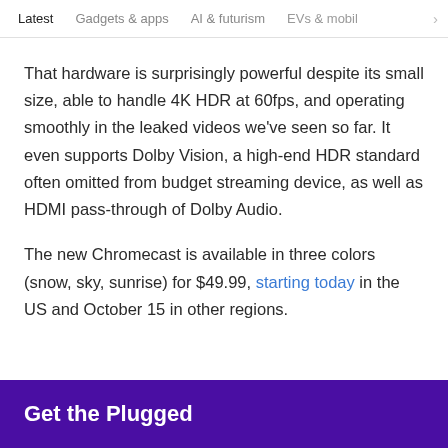Latest   Gadgets & apps   AI & futurism   EVs & mobil >
That hardware is surprisingly powerful despite its small size, able to handle 4K HDR at 60fps, and operating smoothly in the leaked videos we've seen so far. It even supports Dolby Vision, a high-end HDR standard often omitted from budget streaming device, as well as HDMI pass-through of Dolby Audio.
The new Chromecast is available in three colors (snow, sky, sunrise) for $49.99, starting today in the US and October 15 in other regions.
Get the Plugged